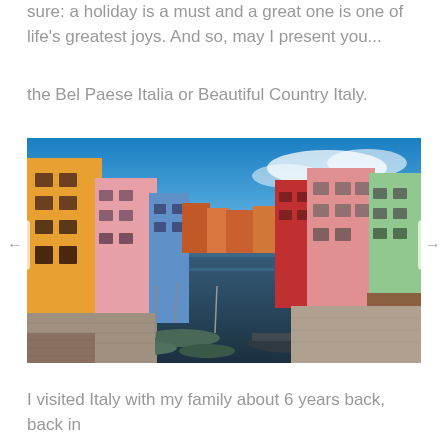sure: a holiday is a must and a great one is one of life's greatest joys. And so, may I present you...
the Bel Paese Italia or Beautiful Country Italy.
[Figure (photo): A colorful canal scene in Burano, Italy, with brightly colored buildings (orange, pink, blue, red, green) lining a calm waterway with small boats moored along the banks under a blue sky.]
I visited Italy with my family about 6 years back, back in